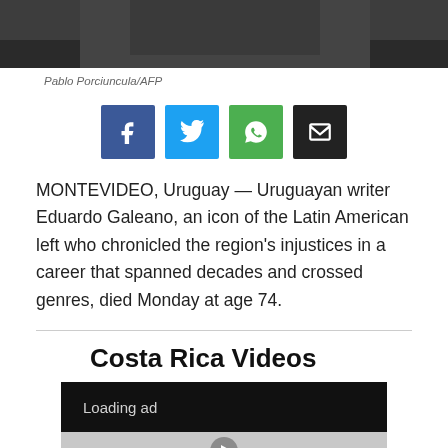[Figure (photo): Top portion of a photo showing a person in dark clothing, partially cropped]
Pablo Porciuncula/AFP
[Figure (infographic): Social share buttons: Facebook (blue), Twitter (light blue), WhatsApp (green), Email (black)]
MONTEVIDEO, Uruguay — Uruguayan writer Eduardo Galeano, an icon of the Latin American left who chronicled the region's injustices in a career that spanned decades and crossed genres, died Monday at age 74.
Costa Rica Videos
[Figure (screenshot): Video player area showing 'Loading ad' text on black background with gray thumbnail below]